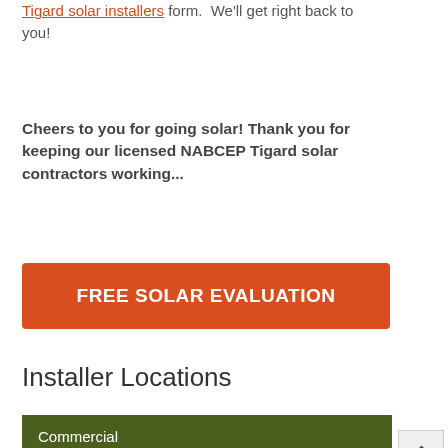Tigard solar installers form. We'll get right back to you!
Cheers to you for going solar! Thank you for keeping our licensed NABCEP Tigard solar contractors working...
FREE SOLAR EVALUATION
Installer Locations
Commercial
Solar Panels
Oregon
Other States